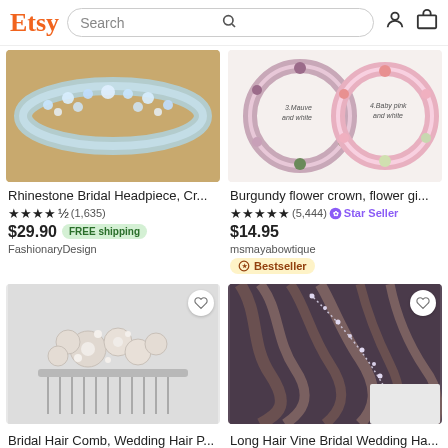Etsy | Search
[Figure (screenshot): Rhinestone bridal headpiece product listing image - crystal tiara close-up]
Rhinestone Bridal Headpiece, Cr...
★★★★½ (1,635)
$29.90 FREE shipping
FashionaryDesign
[Figure (screenshot): Burgundy flower crown product listing image - color swatches showing options 3.Mauve and white, 4.Baby pink and white]
Burgundy flower crown, flower gi...
★★★★★ (5,444) ✿ Star Seller
$14.95
msmayabowtique
Bestseller
[Figure (screenshot): Bridal hair comb product listing image - silver floral crystal and pearl hair comb]
Bridal Hair Comb, Wedding Hair P...
★★★★★ (1,303) ✿ Star Seller
[Figure (screenshot): Long hair vine bridal listing image - woman with curly brown hair adorned with crystal hair vine]
Long Hair Vine Bridal Wedding Ha...
★★★★★ (254)